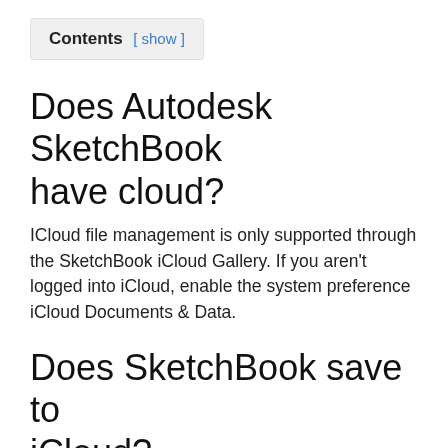Contents [ show ]
Does Autodesk SketchBook have cloud?
ICloud file management is only supported through the SketchBook iCloud Gallery. If you aren't logged into iCloud, enable the system preference iCloud Documents & Data.
Does SketchBook save to iCloud?
Don't panic! Your files are still available in your iCloud Drive. The Sketchbook app for